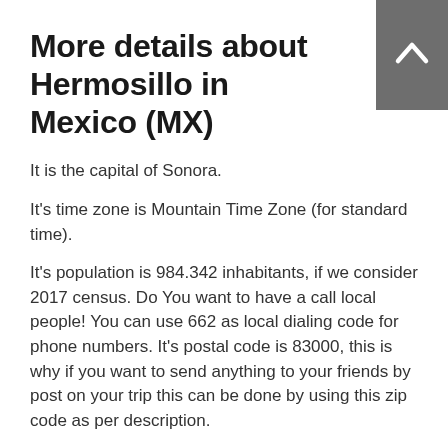More details about Hermosillo in Mexico (MX)
It is the capital of Sonora.
It's time zone is Mountain Time Zone (for standard time).
It's population is 984.342 inhabitants, if we consider 2017 census. Do You want to have a call local people! You can use 662 as local dialing code for phone numbers. It's postal code is 83000, this is why if you want to send anything to your friends by post on your trip this can be done by using this zip code as per description.
Hermosillo dimension is 16 sq. kilometers so Hermosillo appears to be quitely relaxing area , a nice travel destination for trippers that are searching for small destinations for an economic location to stay, a calm place without distractions that you find in large metropolis. If you stay here you can find cheap hotels due to their economic accommodation prices, so for this reason you and your